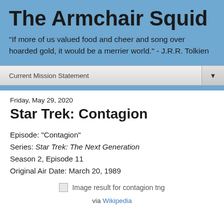The Armchair Squid
"If more of us valued food and cheer and song over hoarded gold, it would be a merrier world." - J.R.R. Tolkien
Current Mission Statement
Friday, May 29, 2020
Star Trek: Contagion
Episode: "Contagion"
Series: Star Trek: The Next Generation
Season 2, Episode 11
Original Air Date: March 20, 1989
[Figure (photo): Broken image placeholder labeled 'Image result for contagion tng']
via Wikipedia